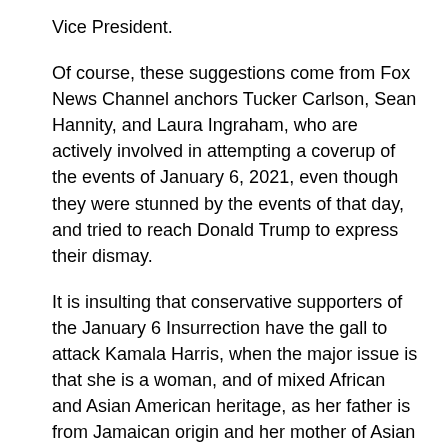Vice President.
Of course, these suggestions come from Fox News Channel anchors Tucker Carlson, Sean Hannity, and Laura Ingraham, who are actively involved in attempting a coverup of the events of January 6, 2021, even though they were stunned by the events of that day, and tried to reach Donald Trump to express their dismay.
It is insulting that conservative supporters of the January 6 Insurrection have the gall to attack Kamala Harris, when the major issue is that she is a woman, and of mixed African and Asian American heritage, as her father is from Jamaican origin and her mother of Asian Indian origin.
Who are the critics turning to as models?